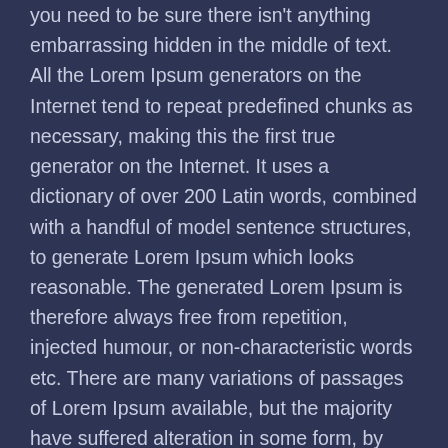you need to be sure there isn't anything embarrassing hidden in the middle of text. All the Lorem Ipsum generators on the Internet tend to repeat predefined chunks as necessary, making this the first true generator on the Internet. It uses a dictionary of over 200 Latin words, combined with a handful of model sentence structures, to generate Lorem Ipsum which looks reasonable. The generated Lorem Ipsum is therefore always free from repetition, injected humour, or non-characteristic words etc. There are many variations of passages of Lorem Ipsum available, but the majority have suffered alteration in some form, by injected humour, or randomised words which don't look even slightly believable. If you are going to use a passage of Lorem Ipsum, you need to be sure there isn't anything embarrassing hidden in the middle of text. All the Lorem Ipsum generators on the Internet tend to repeat predefined chunks as necessary, making this the first true generator on the Internet. It uses a dictionary of over 200 Latin words, combined with a handful of model sentence structures, to generate Lorem Ipsum which looks reasonable. The generated Lorem Ipsum is therefore always free from repetition, injected humour, or non-characteristic words etc. There are many variations of passages of Lorem Ipsum available, but the majority have suffered